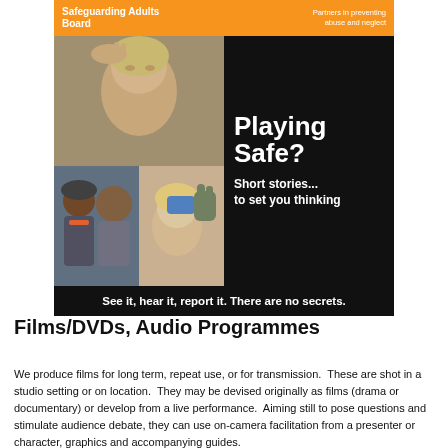[Figure (photo): DVD/film cover for 'Playing Safe? Short stories... to set you thinking' — a safeguarding adults training resource. Cover shows orange header bar with 'Safeguarding Adults Board' and 'Partners in preventing abuse and neglect', three photo panels showing people in various situations (distressed adult, two men in discussion, elderly person receiving care), and the tagline 'See it, hear it, report it. There are no secrets.']
Films/DVDs, Audio Programmes
We produce films for long term, repeat use, or for transmission.  These are shot in a studio setting or on location.  They may be devised originally as films (drama or documentary) or develop from a live performance.  Aiming still to pose questions and stimulate audience debate, they can use on-camera facilitation from a presenter or character, graphics and accompanying guides.